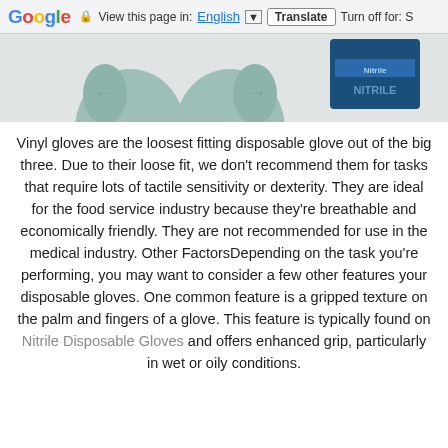Google  View this page in: English [▼]  Translate  Turn off for: S
[Figure (photo): Partial image of green/teal disposable gloves next to a blue box of Nitrile gloves, cropped at top]
Vinyl gloves are the loosest fitting disposable glove out of the big three. Due to their loose fit, we don't recommend them for tasks that require lots of tactile sensitivity or dexterity. They are ideal for the food service industry because they're breathable and economically friendly. They are not recommended for use in the medical industry. Other FactorsDepending on the task you're performing, you may want to consider a few other features your disposable gloves. One common feature is a gripped texture on the palm and fingers of a glove. This feature is typically found on Nitrile Disposable Gloves and offers enhanced grip, particularly in wet or oily conditions.